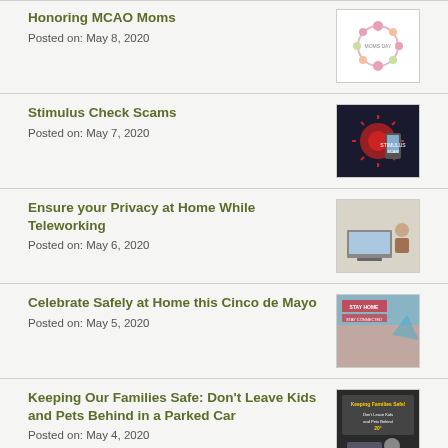Honoring MCAO Moms
Posted on: May 8, 2020
[Figure (illustration): Floral wreath illustration for Mother's Day]
Stimulus Check Scams
Posted on: May 7, 2020
[Figure (photo): COVID-19 stimulus check scam image with phone and virus graphic]
Ensure your Privacy at Home While Teleworking
Posted on: May 6, 2020
[Figure (photo): Person working on laptop at home desk]
Celebrate Safely at Home this Cinco de Mayo
Posted on: May 5, 2020
[Figure (photo): Stay home stay safe Cinco de Mayo graphic]
Keeping Our Families Safe: Don’t Leave Kids and Pets Behind in a Parked Car
Posted on: May 4, 2020
[Figure (illustration): Keeping Families Safe infographic about hot cars]